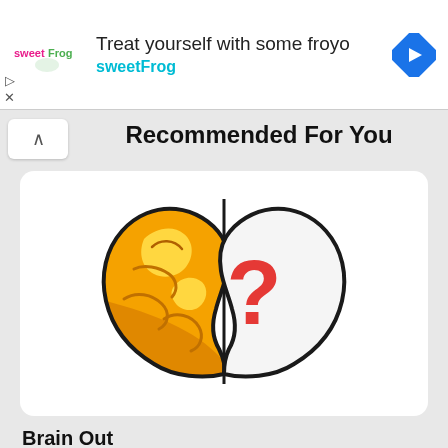[Figure (screenshot): Ad banner for sweetFrog frozen yogurt with logo, text 'Treat yourself with some froyo' and 'sweetFrog', and a blue diamond navigation arrow icon]
Recommended For You
[Figure (illustration): Brain Out app icon: a stylized brain split in two halves, left half is golden/yellow with swirling patterns, right half is white/outline with a red question mark inside]
Brain Out
v2.1.25 • {Unlimited Everything}